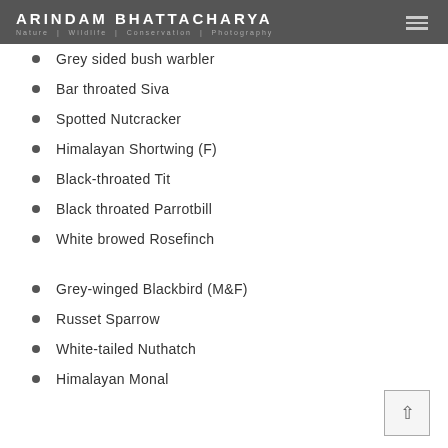ARINDAM BHATTACHARYA | Nature | Wildlife | Conservation | Photography
Grey sided bush warbler
Bar throated Siva
Spotted Nutcracker
Himalayan Shortwing (F)
Black-throated Tit
Black throated Parrotbill
White browed Rosefinch
Grey-winged Blackbird (M&F)
Russet Sparrow
White-tailed Nuthatch
Himalayan Monal